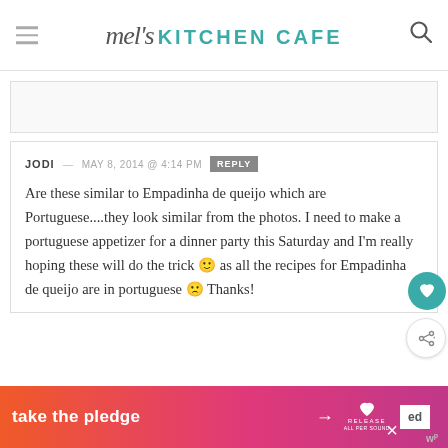mel's KITCHEN CAFE
[Figure (other): Blank white placeholder/ad region at top of page]
JODI — MAY 8, 2014 @ 4:14 PM  REPLY
Are these similar to Empadinha de queijo which are Portuguese....they look similar from the photos. I need to make a portuguese appetizer for a dinner party this Saturday and I'm really hoping these will do the trick 🙂 as all the recipes for Empadinha de queijo are in portuguese 🙁 Thanks!
[Figure (infographic): Orange to pink gradient ad banner at bottom reading 'take the pledge' with arrow, Release logo, and ad markers]